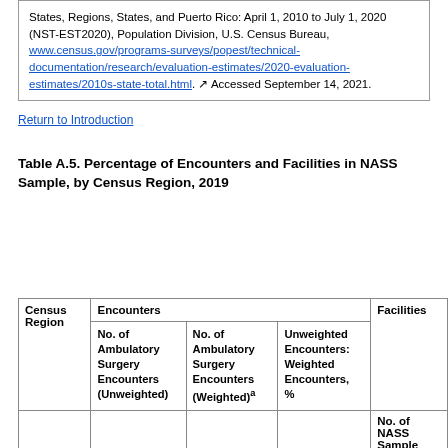States, Regions, States, and Puerto Rico: April 1, 2010 to July 1, 2020 (NST-EST2020), Population Division, U.S. Census Bureau, www.census.gov/programs-surveys/popest/technical-documentation/research/evaluation-estimates/2020-evaluation-estimates/2010s-state-total.html. Accessed September 14, 2021.
Return to Introduction
Table A.5. Percentage of Encounters and Facilities in NASS Sample, by Census Region, 2019
| Census Region | No. of Ambulatory Surgery Encounters (Unweighted) | No. of Ambulatory Surgery Encounters (Weighted)^a | Unweighted Encounters: Weighted Encounters, % | No. of NASS Sample Hospitals |
| --- | --- | --- | --- | --- |